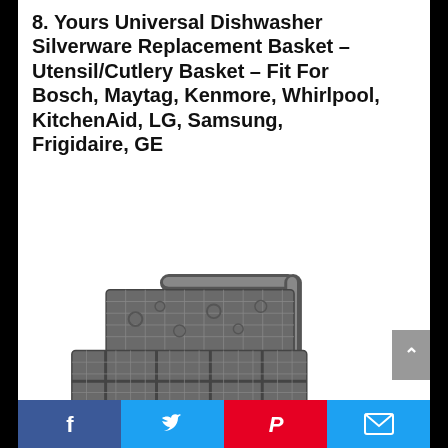8. Yours Universal Dishwasher Silverware Replacement Basket – Utensil/Cutlery Basket – Fit For Bosch, Maytag, Kenmore, Whirlpool, KitchenAid, LG, Samsung, Frigidaire, GE
[Figure (photo): A dishwasher silverware/cutlery basket with grid-pattern compartments and a handle, shown from an angle revealing multiple sections for utensils.]